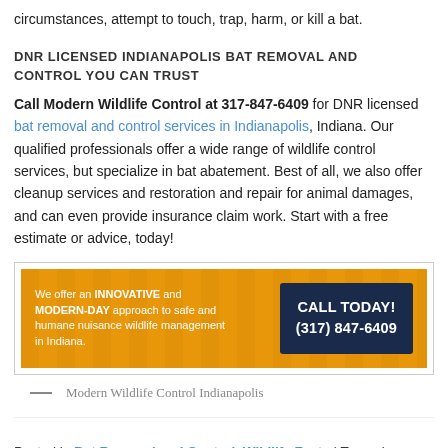circumstances, attempt to touch, trap, harm, or kill a bat.
DNR LICENSED INDIANAPOLIS BAT REMOVAL AND CONTROL YOU CAN TRUST
Call Modern Wildlife Control at 317-847-6409 for DNR licensed bat removal and control services in Indianapolis, Indiana. Our qualified professionals offer a wide range of wildlife control services, but specialize in bat abatement. Best of all, we also offer cleanup services and restoration and repair for animal damages, and can even provide insurance claim work. Start with a free estimate or advice, today!
[Figure (infographic): Orange banner ad with text: 'We offer an INNOVATIVE and MODERN-DAY approach to safe and humane nuisance wildlife management in Indiana.' with a dark blue call-to-action box: 'CALL TODAY! (317) 847-6409']
— Modern Wildlife Control Indianapolis
Posted in Bat Removal and Control, Wildlife Facts | Tagged bat control, bat facts, bat removal, bats in the attic, get rid